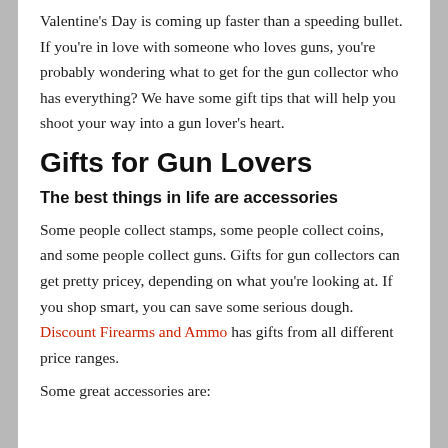Valentine's Day is coming up faster than a speeding bullet. If you're in love with someone who loves guns, you're probably wondering what to get for the gun collector who has everything? We have some gift tips that will help you shoot your way into a gun lover's heart.
Gifts for Gun Lovers
The best things in life are accessories
Some people collect stamps, some people collect coins, and some people collect guns. Gifts for gun collectors can get pretty pricey, depending on what you're looking at. If you shop smart, you can save some serious dough. Discount Firearms and Ammo has gifts from all different price ranges.
Some great accessories are: